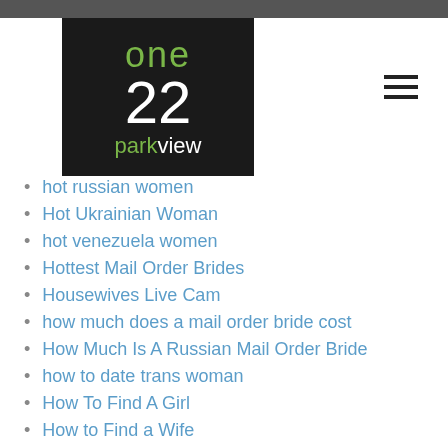[Figure (logo): One 22 Parkview logo — dark background with green 'one', white '22', and 'parkview' in mixed green/white text]
hot russian women
Hot Ukrainian Woman
hot venezuela women
Hottest Mail Order Brides
Housewives Live Cam
how much does a mail order bride cost
How Much Is A Russian Mail Order Bride
how to date trans woman
How To Find A Girl
How to Find a Wife
How To Get A Russian Wife